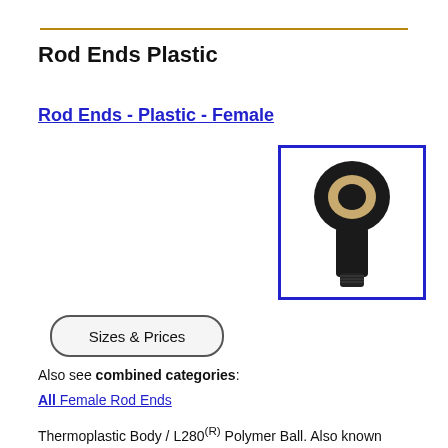Rod Ends Plastic
Rod Ends - Plastic - Female
[Figure (photo): A plastic female rod end with black thermoplastic body and tan/cream colored polymer ball socket, shown in profile view against white background, inside a blue rectangle border.]
Sizes & Prices
Also see combined categories:
All Female Rod Ends
Thermoplastic Body / L280(R) Polymer Ball. Also known